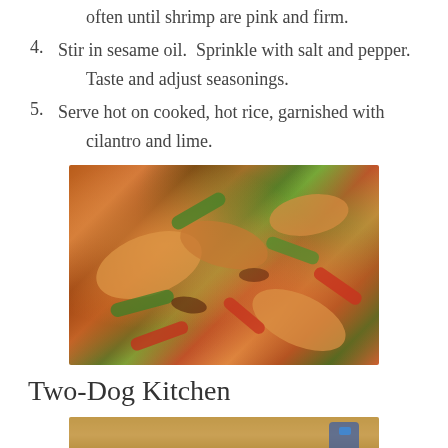often until shrimp are pink and firm.
4. Stir in sesame oil.  Sprinkle with salt and pepper.

Taste and adjust seasonings.
5. Serve hot on cooked, hot rice, garnished with

cilantro and lime.
[Figure (photo): Close-up photo of a shrimp stir-fry dish with shrimp, red and green bell peppers in a glossy sauce]
Two-Dog Kitchen
[Figure (photo): Partial photo of a kitchen countertop or table surface]